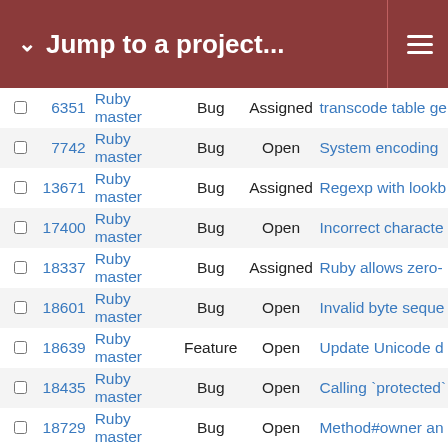Jump to a project...
|  | # | Project | Tracker | Status | Subject |
| --- | --- | --- | --- | --- | --- |
|  | 6351 | Ruby master | Bug | Assigned | transcode table ge... |
|  | 7742 | Ruby master | Bug | Open | System encoding... |
|  | 13671 | Ruby master | Bug | Assigned | Regexp with lookb... |
|  | 17400 | Ruby master | Bug | Open | Incorrect characte... |
|  | 18337 | Ruby master | Bug | Assigned | Ruby allows zero-... |
|  | 18601 | Ruby master | Bug | Open | Invalid byte seque... |
|  | 18639 | Ruby master | Feature | Open | Update Unicode d... |
|  | 18435 | Ruby master | Bug | Open | Calling `protected`... |
|  | 18729 | Ruby master | Bug | Open | Method#owner an... |
|  | 2631 | Ruby master | Feature | Assigned | Allow IO#reopen t... |